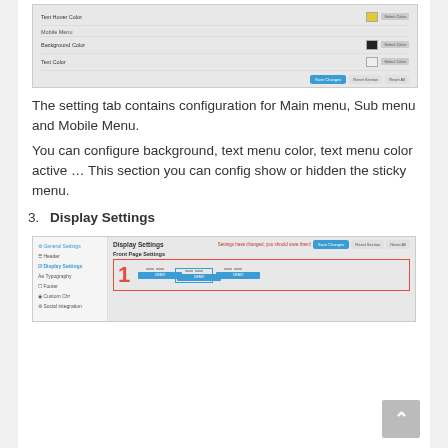[Figure (screenshot): Screenshot of a menu settings UI showing Text Hover Color, Mobile Menu header, Background Color, and Text Color rows with color swatches and Save Changes/Reset Section/Reset All buttons.]
The setting tab contains configuration for Main menu, Sub menu and Mobile Menu.
You can configure background, text menu color, text menu color active … This section you can config show or hidden the sticky menu.
Display Settings
[Figure (screenshot): Screenshot of Display Settings panel showing General Settings sidebar with Display Settings active, Front Page Settings section, and Select Layout Default option with a large red number 1 and three layout option buttons.]